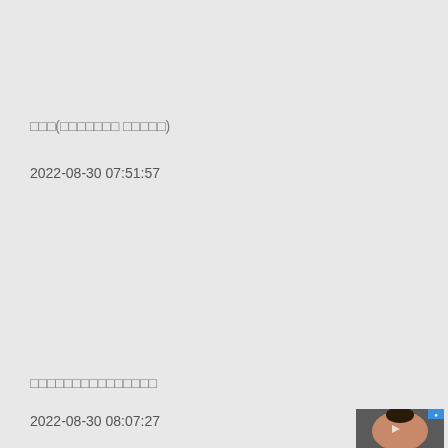□□□(□□□□□□□ □□□□□)
2022-08-30 07:51:57
□□□□□□□□□□□□□□□
2022-08-30 08:07:27
[Figure (photo): A thumbnail image of a person, partially visible at the bottom right of the page]